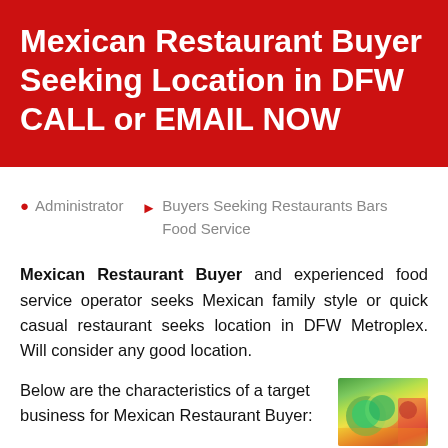Mexican Restaurant Buyer Seeking Location in DFW CALL or EMAIL NOW
Administrator   Buyers Seeking Restaurants Bars Food Service
Mexican Restaurant Buyer and experienced food service operator seeks Mexican family style or quick casual restaurant seeks location in DFW Metroplex.  Will consider any good location.
Below are the characteristics of a target business for Mexican Restaurant Buyer:
counter or full service